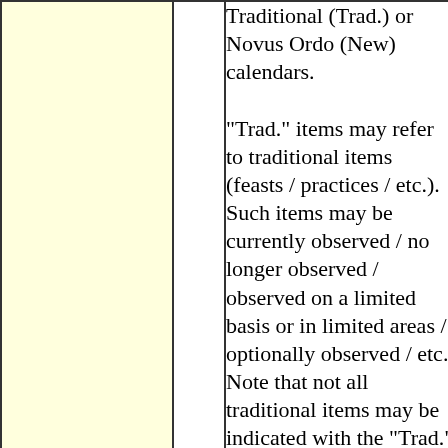|  |  | Traditional (Trad.) or Novus Ordo (New) calendars. "Trad." items may refer to traditional items (feasts / practices / etc.). Such items may be currently observed / no longer observed / observed on a limited basis or in limited areas / optionally observed / etc. Note that not all traditional items may be indicated with the "Trad." notation. Not all "Trad." items may be included. The notation "New" may refer to the Novus Ordo (New Order) calendar (of |